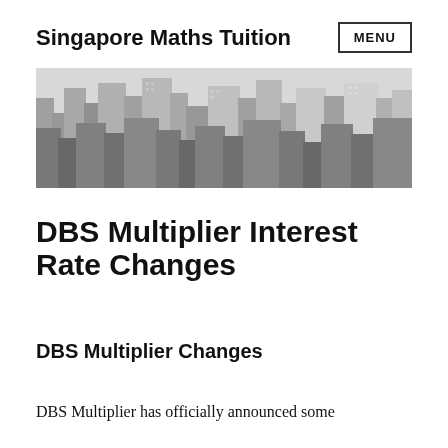Singapore Maths Tuition
[Figure (photo): Black and white aerial photograph of a dense urban skyline with tall skyscrapers]
DBS Multiplier Interest Rate Changes
DBS Multiplier Changes
DBS Multiplier has officially announced some